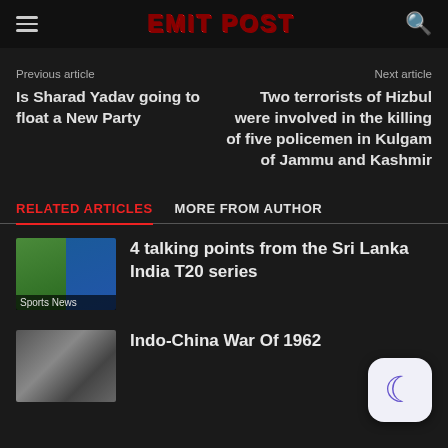EMIT POST
Previous article
Next article
Is Sharad Yadav going to float a New Party
Two terrorists of Hizbul were involved in the killing of five policemen in Kulgam of Jammu and Kashmir
RELATED ARTICLES  MORE FROM AUTHOR
[Figure (photo): Sports composite image with two cricket players, labeled Sports News]
4 talking points from the Sri Lanka India T20 series
[Figure (photo): Black and white war photograph, Indo-China War 1962]
Indo-China War Of 1962